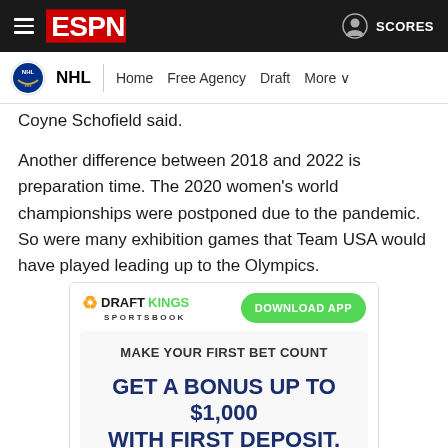ESPN - NHL | Home | Free Agency | Draft | More | SCORES
Coyne Schofield said.
Another difference between 2018 and 2022 is preparation time. The 2020 women's world championships were postponed due to the pandemic. So were many exhibition games that Team USA would have played leading up to the Olympics.
[Figure (screenshot): DraftKings Sportsbook advertisement. Shows DraftKings Sportsbook logo with a 'DOWNLOAD APP' green button. Inner box reads 'MAKE YOUR FIRST BET COUNT' and 'GET A BONUS UP TO $1,000 WITH FIRST DEPOSIT.']